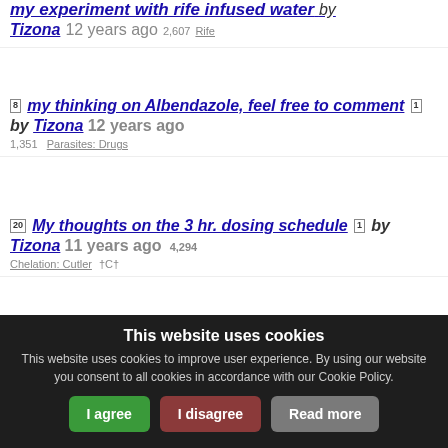my experiment with rife infused water by Tizona 12 years ago 2,607 Rife
[8] my thinking on Albendazole, feel free to comment [1] by Tizona 12 years ago 1,351 Parasites: Drugs
[20] My thoughts on the 3 hr. dosing schedule [1] by Tizona 11 years ago 4,294 Chelation: Cutler †C†
[3] Mycoplasma Fermentans program [1] by Tizona 13 years ago 3,264 Rife
This website uses cookies
This website uses cookies to improve user experience. By using our website you consent to all cookies in accordance with our Cookie Policy.
I agree | I disagree | Read more